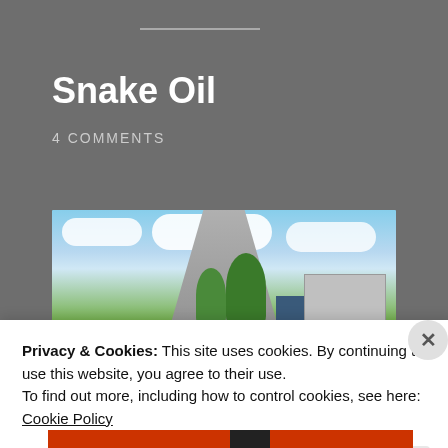Snake Oil
4 COMMENTS
[Figure (photo): Panoramic street view photo showing a small town road stretching into the distance, flanked by trees, buildings, trailers, and green grass under a partly cloudy blue sky.]
Privacy & Cookies: This site uses cookies. By continuing to use this website, you agree to their use.
To find out more, including how to control cookies, see here: Cookie Policy
Close and accept